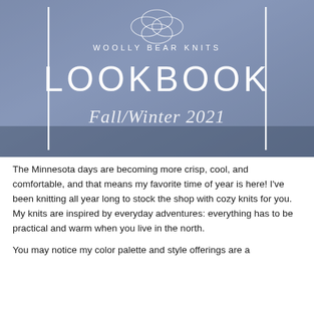[Figure (photo): Cover image of a blue-grey knit fabric with overlaid white text reading 'WOOLLY BEAR KNITS' in small caps, 'LOOKBOOK' in large bold capitals, and 'Fall/Winter 2021' in cursive script. Two vertical white lines frame the text decoratively.]
The Minnesota days are becoming more crisp, cool, and comfortable, and that means my favorite time of year is here! I've been knitting all year long to stock the shop with cozy knits for you. My knits are inspired by everyday adventures: everything has to be practical and warm when you live in the north.
You may notice my color palette and style offerings are a